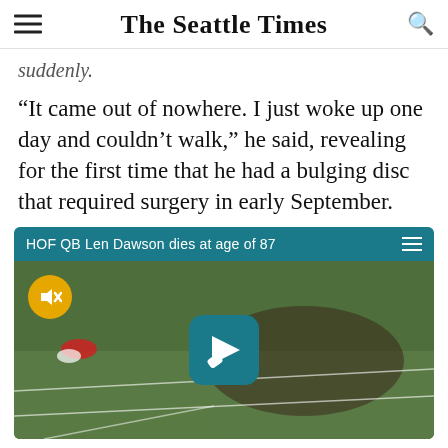The Seattle Times
suddenly.
“It came out of nowhere. I just woke up one day and couldn’t walk,” he said, revealing for the first time that he had a bulging disc that required surgery in early September.
[Figure (screenshot): Video player showing a football field aerial view with title bar 'HOF QB Len Dawson dies at age of 87', a mute button (yellow circle with speaker icon), and a play button (teal rounded square with forward arrow icon).]